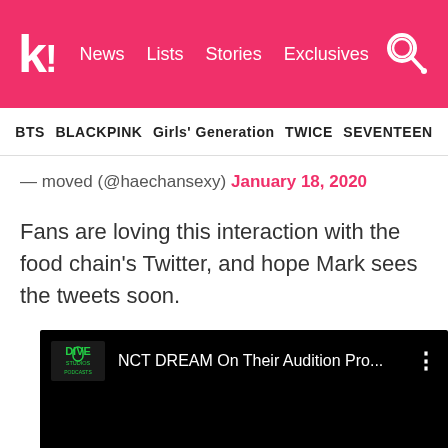k! News  Lists  Stories  Exclusives
BTS  BLACKPINK  Girls' Generation  TWICE  SEVENTEEN
— moved (@haechansexy) January 18, 2020
Fans are loving this interaction with the food chain's Twitter, and hope Mark sees the tweets soon.
[Figure (screenshot): Embedded YouTube video thumbnail showing 'DIVE Studios Podcasts' logo and title 'NCT DREAM On Their Audition Pro...' with three-dot menu icon on a black background]